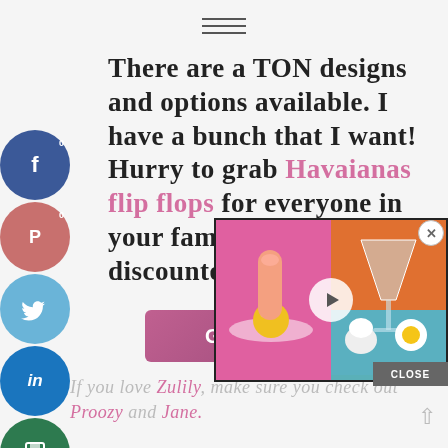[Figure (other): Hamburger/menu icon (three horizontal lines) at top center]
There are a TON designs and options available. I have a bunch that I want! Hurry to grab Havaianas flip flops for everyone in your family while discounted!
[Figure (other): Social sharing sidebar with Facebook, Pinterest, Twitter, LinkedIn, Save, Email circular buttons on the left side]
[Figure (other): Call-to-action button reading 'Get the Deal here!']
[Figure (other): Video overlay popup showing pink and teal split screen thumbnail with play button, close X, and CLOSE bar]
If you love Zulily, make sure you check out Proozy and Jane.